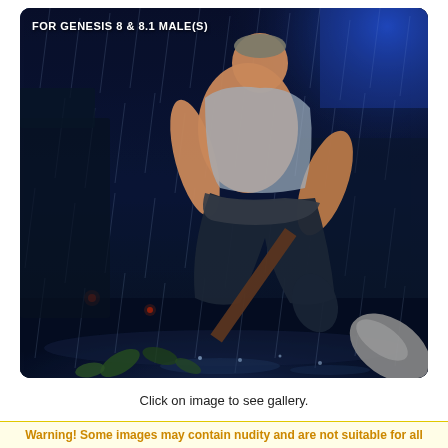[Figure (illustration): 3D rendered muscular male character in a rainy dark blue night scene, wearing a torn grey tunic and dark pants, holding a large hammer or mallet, posed in a combat stance. Rain falls heavily in the background. Text overlay at top reads 'FOR GENESIS 8 & 8.1 MALE(S)'. Blue light glows from top right. Small red glowing embers visible in mid-background. Green leaves on the wet ground.]
Click on image to see gallery.
Warning! Some images may contain nudity and are not suitable for all